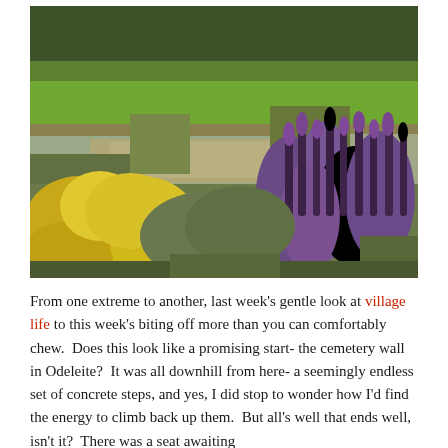[Figure (photo): Landscape photo showing a rural scene with a muddy river or pond in the middle ground, yellow flowering shrubs (gorse) on the left foreground, purple lavender-like flowers on the right foreground, green reeds and grasses along the water's edge, and a green hillside with trees in the background under an overcast sky.]
From one extreme to another, last week's gentle look at village life to this week's biting off more than you can comfortably chew.  Does this look like a promising start- the cemetery wall in Odeleite?  It was all downhill from here- a seemingly endless set of concrete steps, and yes, I did stop to wonder how I'd find the energy to climb back up them.  But all's well that ends well, isn't it?  There was a seat awaiting